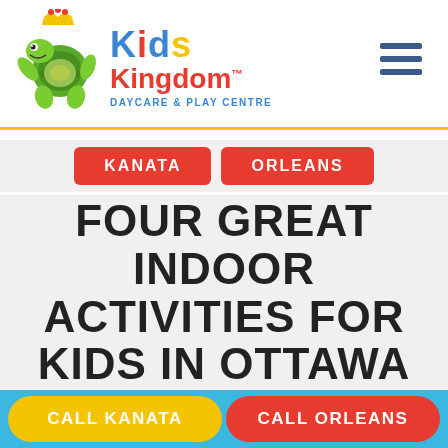[Figure (logo): Kids Kingdom Daycare & Play Centre logo with cartoon turtle mascot wearing a crown]
FOUR GREAT INDOOR ACTIVITIES FOR KIDS IN OTTAWA
KANATA
ORLEANS
CALL KANATA | CALL ORLEANS